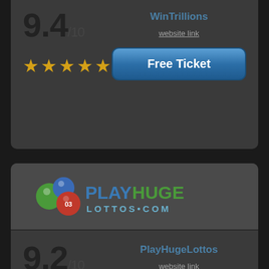9.4/10
[Figure (other): 4.5 star rating in gold/yellow]
WinTrillions
website link
Free Ticket
[Figure (logo): PlayHuge Lottos logo with colorful lottery balls and teal/green text]
9.2/10
[Figure (other): 4.5 star rating in gold/yellow]
PlayHugeLottos
website link
22% Off